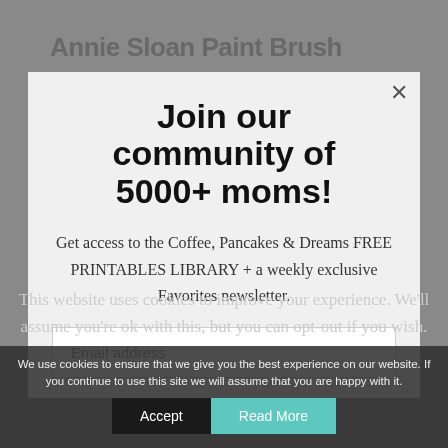Annie Sloan Paint Brush
Join our community of 5000+ moms!
Get access to the Coffee, Pancakes & Dreams FREE PRINTABLES LIBRARY + a weekly exclusive Favorites newsletter.
Email address
We use cookies to ensure that we give you the best experience on our website. If you continue to use this site we will assume that you are happy with it.
This website uses cookies to improve your experience. We'll assume you're ok with this, but you can opt-out if you wish.